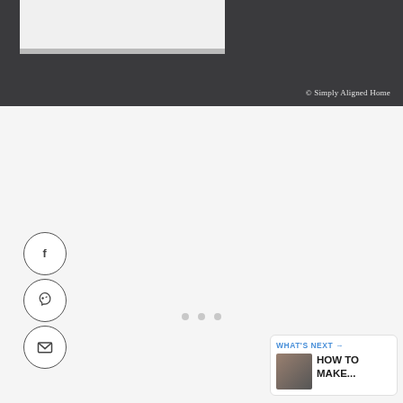[Figure (photo): Close-up photo of a dark gray textured surface with a light gray/white box or tray in the upper left corner. Copyright watermark reads '© Simply Aligned Home'.]
[Figure (infographic): Social share buttons: three circular icon buttons for Facebook (f), Pinterest (P), and email (envelope icon), arranged vertically on the left side.]
[Figure (infographic): Like/share widget on right side: blue heart button, count of 3, blue share button with plus icon.]
WHAT'S NEXT → HOW TO MAKE...
[Figure (photo): Small thumbnail image showing a dark interior scene, part of a 'What's Next' recommendation widget.]